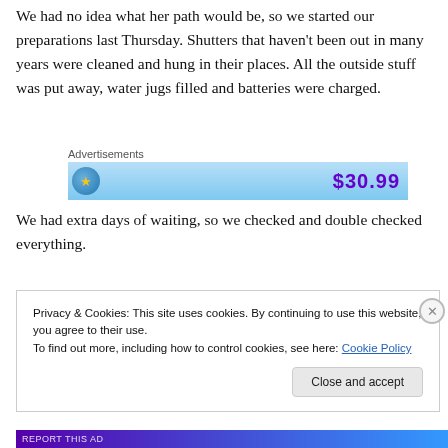We had no idea what her path would be, so we started our preparations last Thursday. Shutters that haven't been out in many years were cleaned and hung in their places. All the outside stuff was put away, water jugs filled and batteries were charged.
[Figure (other): Advertisement banner with blue gradient background, a circular icon with a yellow star on the left, and '$30.99' price text in purple on the right. Labeled 'Advertisements' above.]
We had extra days of waiting, so we checked and double checked everything.
Privacy & Cookies: This site uses cookies. By continuing to use this website, you agree to their use.
To find out more, including how to control cookies, see here: Cookie Policy
Close and accept